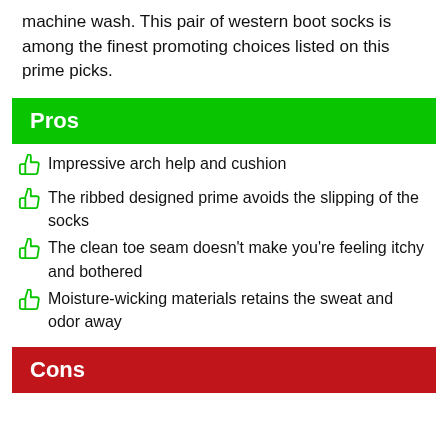machine wash. This pair of western boot socks is among the finest promoting choices listed on this prime picks.
Pros
Impressive arch help and cushion
The ribbed designed prime avoids the slipping of the socks
The clean toe seam doesn't make you're feeling itchy and bothered
Moisture-wicking materials retains the sweat and odor away
Cons